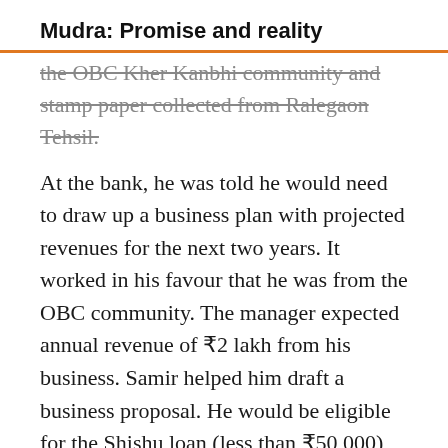Mudra: Promise and reality
the OBC Kher Kanbhi community and stamp paper collected from Ralegaon Tehsil.
At the bank, he was told he would need to draw up a business plan with projected revenues for the next two years. It worked in his favour that he was from the OBC community. The manager expected annual revenue of ₹2 lakh from his business. Samir helped him draft a business proposal. He would be eligible for the Shishu loan (less than ₹50,000) and brought quotations for the products he needed.